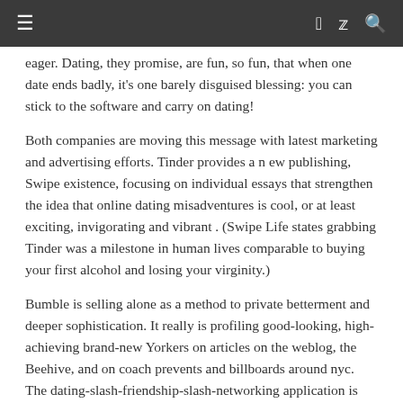≡  f  🐦  🔍
eager. Dating, they promise, are fun, so fun, that when one date ends badly, it's one barely disguised blessing: you can stick to the software and carry on dating!
Both companies are moving this message with latest marketing and advertising efforts. Tinder provides a n ew publishing, Swipe existence, focusing on individual essays that strengthen the idea that online dating misadventures is cool, or at least exciting, invigorating and vibrant . (Swipe Life states grabbing Tinder was a milestone in human lives comparable to buying your first alcohol and losing your virginity.)
Bumble is selling alone as a method to private betterment and deeper sophistication. It really is profiling good-looking, high-achieving brand-new Yorkers on articles on the weblog, the Beehive, and on coach prevents and billboards around nyc. The dating-slash-friendship-slash-networking application is actually hoping to promote users on a lot of different upward flexibility. The proper enchanting spouse is definitely about application, but making some other contacts could serve you as well.